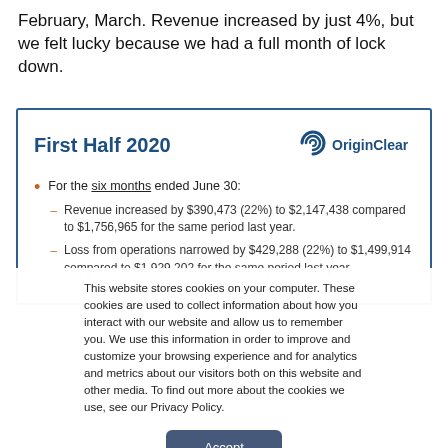February, March. Revenue increased by just 4%, but we felt lucky because we had a full month of lock down.
First Half 2020
[Figure (logo): OriginClear logo with stylized spiral icon in dark blue]
For the six months ended June 30:
Revenue increased by $390,473 (22%) to $2,147,438 compared to $1,756,965 for the same period last year.
Loss from operations narrowed by $429,288 (22%) to $1,499,914 compared to $1,929,202 for the same period last year.
This website stores cookies on your computer. These cookies are used to collect information about how you interact with our website and allow us to remember you. We use this information in order to improve and customize your browsing experience and for analytics and metrics about our visitors both on this website and other media. To find out more about the cookies we use, see our Privacy Policy.